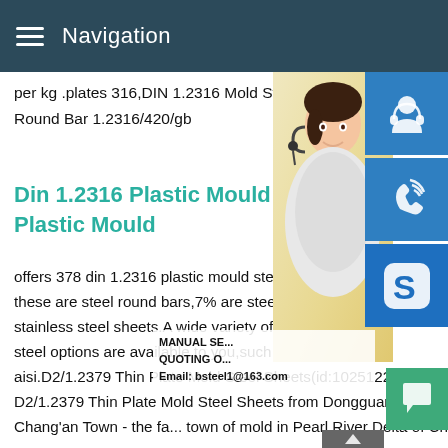Navigation
per kg .plates 316,DIN 1.2316 Mold Steel, with stainless steel price per kg.PDF Good Steel Round Bar 1.2316/420/gb
Din 1.2316 Plastic Mould Ste... Plastic Mould
offers 378 din 1.2316 plastic mould steel p... these are steel round bars,7% are steel sh... stainless steel sheets.A wide variety of din... steel options are available to you,such as ... aisi.D2/1.2379 Thin Plate Mold Steel Sheets(id:10251220).Buy D2/1.2379 Thin Plate Mold Steel Sheets(id:10251220).View product details of D2/1.2379 Thin Plate Mold Steel Sheets from Dongguan Songshun Mould Steel Co..manufacturer in EC21Company Overview is located in Chang'an Town - the fa... town of mold in Pearl River Delta of China.After 10 years'
[Figure (photo): Woman with headset, customer service representative, shown in right panel alongside blue icon buttons for headset, phone, and Skype, plus green chat button]
MANUAL SE... QUOTING O... Email: bsteel1@163.com